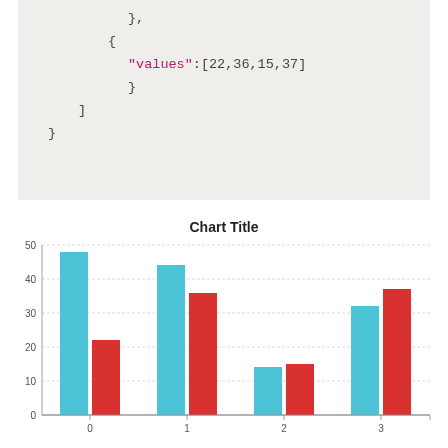},
{
  "values":[22,36,15,37]
}
]
}
[Figure (grouped-bar-chart): Chart Title]